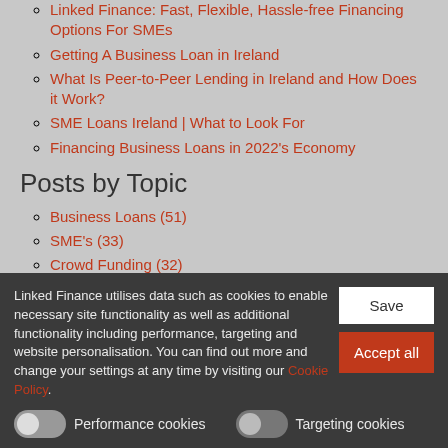Linked Finance: Fast, Flexible, Hassle-free Financing Options For SMEs
Getting A Business Loan in Ireland
What Is Peer-to-Peer Lending in Ireland and How Does it Work?
SME Loans Ireland | What to Look For
Financing Business Loans in 2022's Economy
Posts by Topic
Business Loans (51)
SME's (33)
Crowd Funding (32)
Business Tips (29)
Lending (25)
Linked Finance utilises data such as cookies to enable necessary site functionality as well as additional functionality including performance, targeting and website personalisation. You can find out more and change your settings at any time by visiting our Cookie Policy.